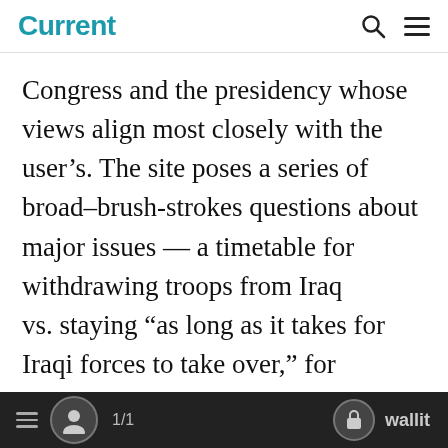Current
Congress and the presidency whose views align most closely with the user’s. The site poses a series of broad–brush-strokes questions about major issues — a timetable for withdrawing troops from Iraq vs. staying “as long as it takes for Iraqi forces to take over,” for example — and questions about how important each issue is to the respondent — very, somewhat or not at all. Select a Candidate tallies up the answers and
1/1  wallit